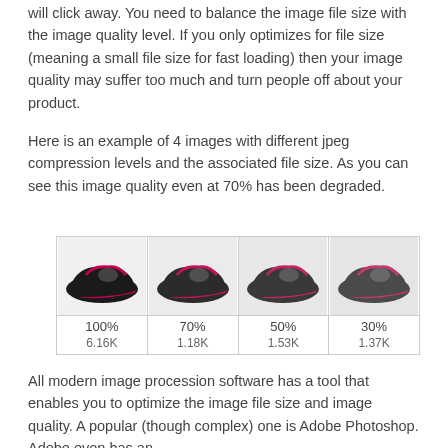will click away. You need to balance the image file size with the image quality level. If you only optimizes for file size (meaning a small file size for fast loading) then your image quality may suffer too much and turn people off about your product.
Here is an example of 4 images with different jpeg compression levels and the associated file size. As you can see this image quality even at 70% has been degraded.
[Figure (photo): Four shoe images shown side by side at different JPEG compression levels: 100% (6.16K), 70% (1.18K), 50% (1.53K), 30% (1.37K)]
All modern image procession software has a tool that enables you to optimize the image file size and image quality. A popular (though complex) one is Adobe Photoshop. Adobe even has an